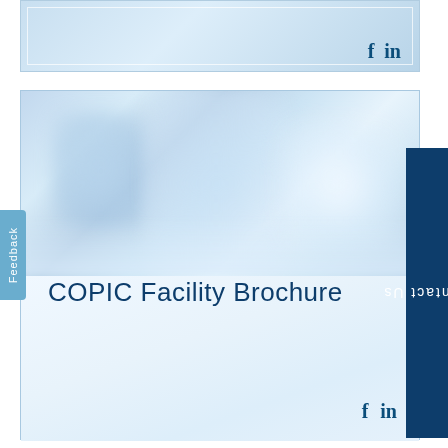[Figure (screenshot): Top partial card with social media icons (Facebook f and LinkedIn in) on a light blue gradient background]
[Figure (photo): Main COPIC brochure card with a blurred light blue hospital hallway photograph in the upper portion, title text below, and social media icons at bottom right]
COPIC Facility Brochure
Feedback
Contact Us